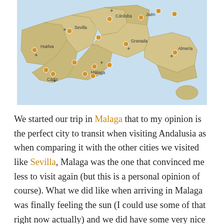[Figure (map): Map of Andalusia, Spain showing provinces and cities including Huelva, Sevilla, Córdoba, Jaén, Granada, Almería, Málaga, and Cádiz, with airport icons marking each city.]
We started our trip in Malaga that to my opinion is the perfect city to transit when visiting Andalusia as when comparing it with the other cities we visited like Sevilla, Malaga was the one that convinced me less to visit again (but this is a personal opinion of course). What we did like when arriving in Malaga was finally feeling the sun (I could use some of that right now actually) and we did have some very nice food, but more about that later